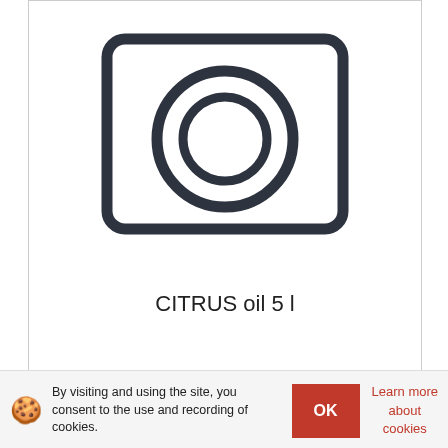[Figure (illustration): Camera icon placeholder: a rounded rectangle outline with a large circle and smaller inner circle, representing a camera/photo placeholder graphic, dark gray on white.]
CITRUS oil 5 l
Price with VAT:
76,86 €
By visiting and using the site, you consent to the use and recording of cookies.
Learn more about cookies